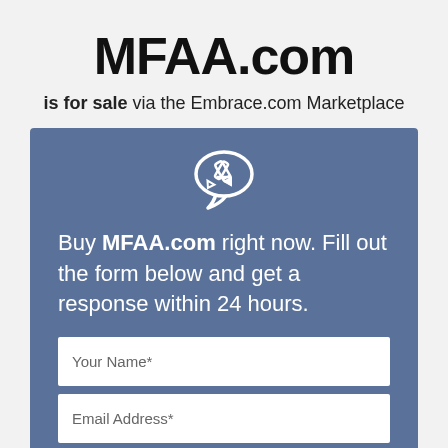MFAA.com
is for sale via the Embrace.com Marketplace
[Figure (illustration): White speech bubble icon with a pencil/edit symbol inside, on a blue-grey background]
Buy MFAA.com right now. Fill out the form below and get a response within 24 hours.
Your Name*
Email Address*
Phone Number